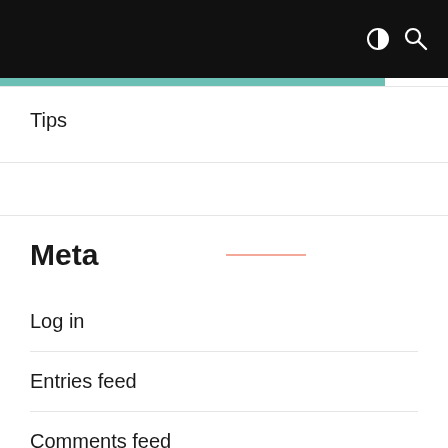Tips
Meta
Log in
Entries feed
Comments feed
WordPress.org